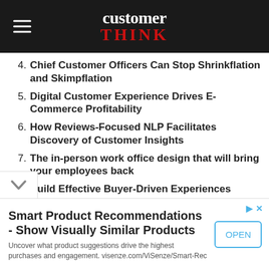customer THINK
4. Chief Customer Officers Can Stop Shrinkflation and Skimpflation
5. Digital Customer Experience Drives E-Commerce Profitability
6. How Reviews-Focused NLP Facilitates Discovery of Customer Insights
7. The in-person work office design that will bring your employees back
8. Build Effective Buyer-Driven Experiences Using Intelligence and Sales Enablement
9. Does CX Really Matter in the Metaverse?
10. Questions to Assess Your Contact Center’s Readiness to
Smart Product Recommendations - Show Visually Similar Products
Uncover what product suggestions drive the highest purchases and engagement. visenze.com/ViSenze/Smart-Rec
OPEN